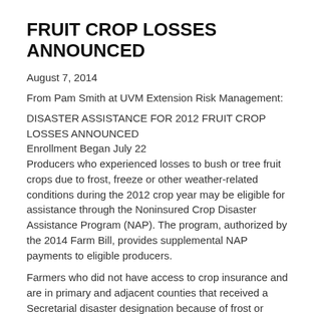FRUIT CROP LOSSES ANNOUNCED
August 7, 2014
From Pam Smith at UVM Extension Risk Management:
DISASTER ASSISTANCE FOR 2012 FRUIT CROP LOSSES ANNOUNCED
Enrollment Began July 22
Producers who experienced losses to bush or tree fruit crops due to frost, freeze or other weather-related conditions during the 2012 crop year may be eligible for assistance through the Noninsured Crop Disaster Assistance Program (NAP). The program, authorized by the 2014 Farm Bill, provides supplemental NAP payments to eligible producers.
Farmers who did not have access to crop insurance and are in primary and adjacent counties that received a Secretarial disaster designation because of frost or freeze in 2012 are eligible for NAP assistance. Losses due to weather damage or other adverse natural occurrences may also qualify for program assistance.